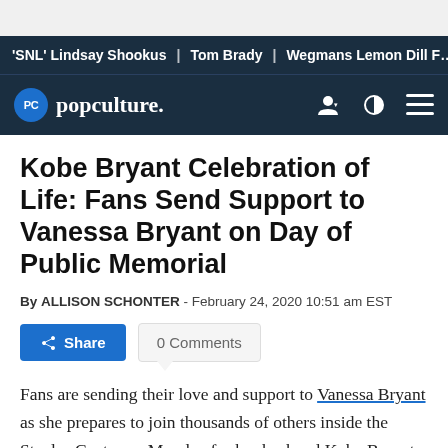'SNL' Lindsay Shookus | Tom Brady | Wegmans Lemon Dill F…
[Figure (logo): Popculture.com logo with navigation icons on dark navy background]
Kobe Bryant Celebration of Life: Fans Send Support to Vanessa Bryant on Day of Public Memorial
By ALLISON SCHONTER - February 24, 2020 10:51 am EST
Share | 0 Comments
Fans are sending their love and support to Vanessa Bryant as she prepares to join thousands of others inside the Staples Center on Monday for her husband Kobe Bryant and daughter Gianna's public memorial. Called the